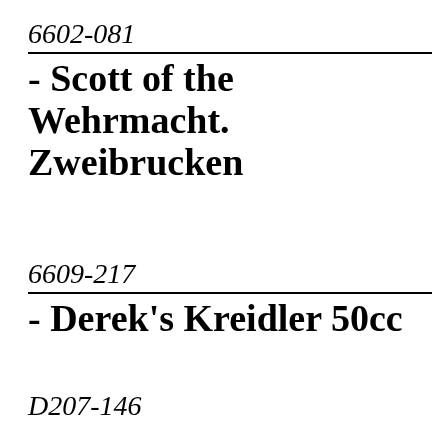6602-081
- Scott of the Wehrmacht. Zweibrucken
6609-217
- Derek's Kreidler 50cc
D207-146